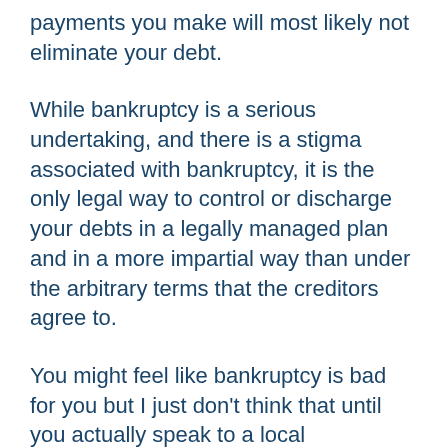payments you make will most likely not eliminate your debt.
While bankruptcy is a serious undertaking, and there is a stigma associated with bankruptcy, it is the only legal way to control or discharge your debts in a legally managed plan and in a more impartial way than under the arbitrary terms that the creditors agree to.
You might feel like bankruptcy is bad for you but I just don't think that until you actually speak to a local bankruptcy attorney you'll have a perception about